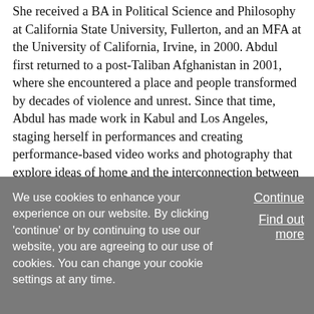She received a BA in Political Science and Philosophy at California State University, Fullerton, and an MFA at the University of California, Irvine, in 2000. Abdul first returned to a post-Taliban Afghanistan in 2001, where she encountered a place and people transformed by decades of violence and unrest. Since that time, Abdul has made work in Kabul and Los Angeles, staging herself in performances and creating performance-based video works and photography that explore ideas of home and the interconnection between architecture and identity. Beginning in the late 1990s, Abdul made emotionally intense performance art informed by that of Yugoslavian artist Marina Abramović and Cuban-born American artist Ana Mendieta. At the time, unable to return to Afghanistan...
We use cookies to enhance your experience on our website. By clicking 'continue' or by continuing to use our website, you are agreeing to our use of cookies. You can change your cookie settings at any time.
Continue
Find out more